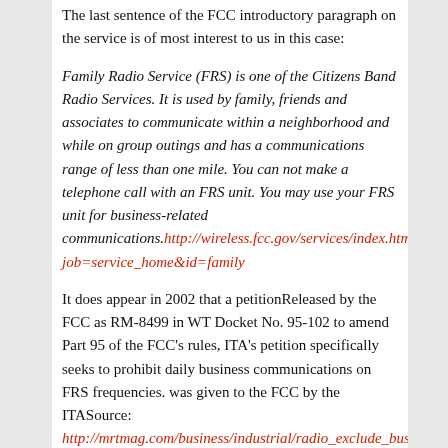The last sentence of the FCC introductory paragraph on the service is of most interest to us in this case:
Family Radio Service (FRS) is one of the Citizens Band Radio Services. It is used by family, friends and associates to communicate within a neighborhood and while on group outings and has a communications range of less than one mile. You can not make a telephone call with an FRS unit. You may use your FRS unit for business-related communications. http://wireless.fcc.gov/services/index.htm?job=service_home&id=family
It does appear in 2002 that a petitionReleased by the FCC as RM-8499 in WT Docket No. 95-102 to amend Part 95 of the FCC's rules, ITA's petition specifically seeks to prohibit daily business communications on FRS frequencies. was given to the FCC by the ITASource: http://mrtmag.com/business/industrial/radio_exclude_business_fami... requesting business use be prohibited from the frequencies, but with quick review of the FCC comments on that petition it looks like they dismissed it as a money-making attempt by business band radio manufacturers ;-)